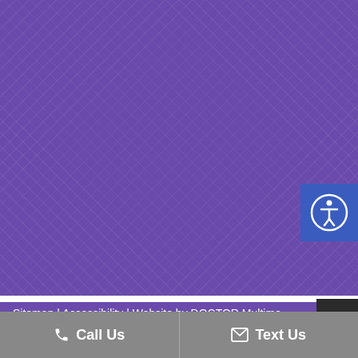[Figure (screenshot): Purple patterned background with diagonal crosshatch texture filling the upper portion of the page]
[Figure (illustration): Accessibility icon button — blue square with white circle containing a human figure with arms outstretched (universal accessibility symbol)]
Sitemap | Accessibility | Website by DOCTOR Multime...
[Figure (illustration): Dark scroll-to-top button with white upward chevron arrows]
Call Us
Text Us